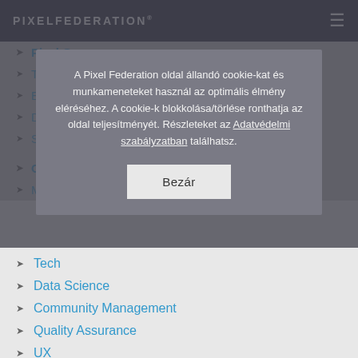PIXELFEDERATION
Pixel Games
Trainstation
Emporea
Diggy's Adventure
Seaport
Game Dev Talks
Marketing
A Pixel Federation oldal állandó cookie-kat és munkameneteket használ az optimális élmény eléréséhez. A cookie-k blokkolása/törlése ronthatja az oldal teljesítményét. Részleteket az Adatvédelmi szabályzatban találhatsz.
Bezár
Tech
Data Science
Community Management
Quality Assurance
UX
Art
Game Design
Social Media
Production
People Team